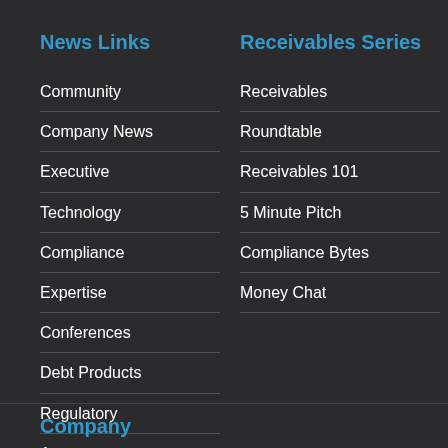News Links
Community
Company News
Executive
Technology
Compliance
Expertise
Conferences
Debt Products
Regulatory
Aggregator
Receivables Series
Receivables
Roundtable
Receivables 101
5 Minute Pitch
Compliance Bytes
Money Chat
Company